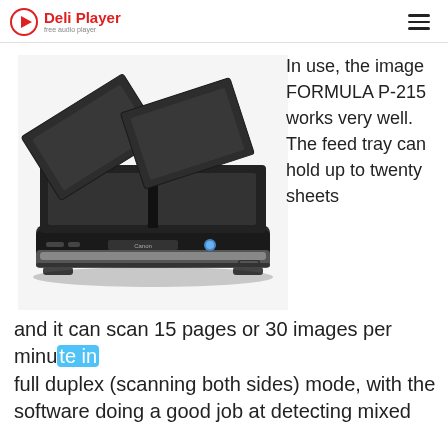Deli Player — free audio player
[Figure (photo): Canon imageFORMULA P-215 portable document scanner with feed tray open, viewed from above at an angle, showing paper guides and scanning bed. The scanner is black and silver.]
In use, the image FORMULA P-215 works very well. The feed tray can hold up to twenty sheets and it can scan 15 pages or 30 images per minute in full duplex (scanning both sides) mode, with the software doing a good job at detecting mixed